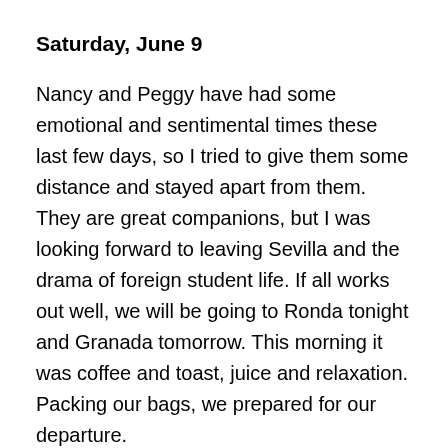Saturday, June 9
Nancy and Peggy have had some emotional and sentimental times these last few days, so I tried to give them some distance and stayed apart from them. They are great companions, but I was looking forward to leaving Sevilla and the drama of foreign student life. If all works out well, we will be going to Ronda tonight and Granada tomorrow. This morning it was coffee and toast, juice and relaxation. Packing our bags, we prepared for our departure.
With some good hours on our hands and lots of journal writing to catch-up on, I began putting pen to pad and produce. Thoughts, words, deeds, when they wonder too far away in time, often lose their clarity. The sooner written